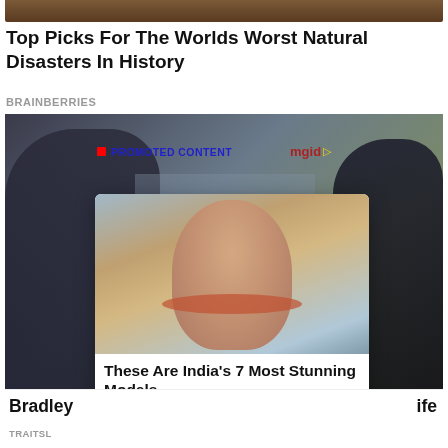[Figure (photo): Cropped top portion of an image showing a dark brown/earthy scene, partially visible at the top of the page]
Top Picks For The Worlds Worst Natural Disasters In History
BRAINBERRIES
[Figure (photo): Background photo of people in dark clothing with a 'PROMOTED CONTENT' and 'mgid' watermark overlay. A popup card overlays the bottom portion showing a close-up photo of a woman with hoop earrings and the title 'These Are India's 7 Most Stunning Models' attributed to Brainberries. Bottom bar shows 'Bradley' and 'ife' text partially visible from the underlying article, with 'TRAITSL' source label.]
These Are India's 7 Most Stunning Models
Brainberries
Bradley
ife
TRAITSL